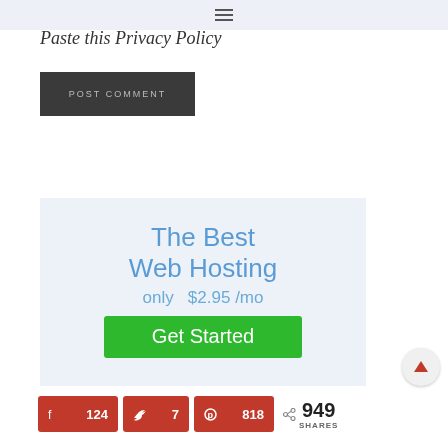Paste this Privacy Policy
POST COMMENT
[Figure (infographic): Web hosting advertisement banner with light blue background. Text reads 'The Best Web Hosting only $2.95 /mo' in blue, with a green 'Get Started' button.]
124  7  818  949 SHARES